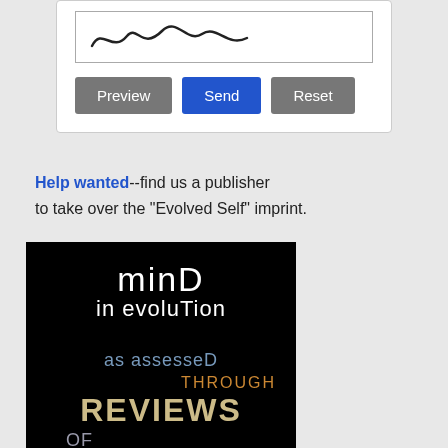[Figure (screenshot): Web form with a signature/text input area and three buttons: Preview (gray), Send (blue), Reset (gray)]
Help wanted--find us a publisher to take over the "Evolved Self" imprint.
[Figure (illustration): Book cover for 'Mind in Evolution: as assessed Through Reviews of' on black background with multi-colored text]